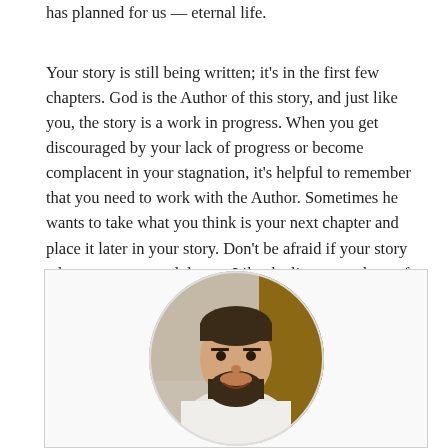has planned for us — eternal life.
Your story is still being written; it's in the first few chapters. God is the Author of this story, and just like you, the story is a work in progress. When you get discouraged by your lack of progress or become complacent in your stagnation, it's helpful to remember that you need to work with the Author. Sometimes he wants to take what you think is your next chapter and place it later in your story. Don't be afraid if your story takes an unexpected detour. Like the literary authors of our favorite stories, this divine Author will both surprise and delight you.
[Figure (photo): Circular portrait photo of a smiling bearded man wearing white clerical vestments, set within a light-bordered rectangular box.]